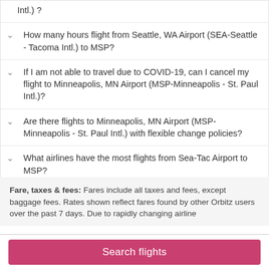Intl.)?
How many hours flight from Seattle, WA Airport (SEA-Seattle - Tacoma Intl.) to MSP?
If I am not able to travel due to COVID-19, can I cancel my flight to Minneapolis, MN Airport (MSP-Minneapolis - St. Paul Intl.)?
Are there flights to Minneapolis, MN Airport (MSP-Minneapolis - St. Paul Intl.) with flexible change policies?
What airlines have the most flights from Sea-Tac Airport to MSP?
Fare, taxes & fees: Fares include all taxes and fees, except baggage fees. Rates shown reflect fares found by other Orbitz users over the past 7 days. Due to rapidly changing airline
Search flights